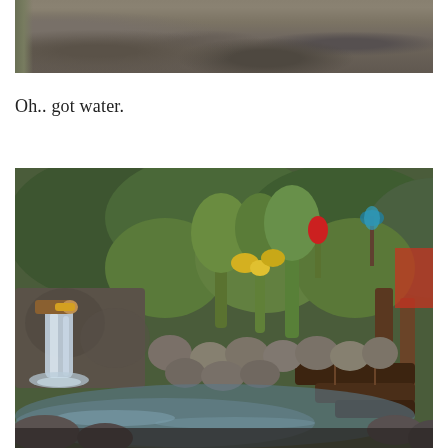[Figure (photo): Top portion of a photograph showing a dirt path or ground with dried leaves and some green vegetation on the left edge.]
Oh.. got water.
[Figure (photo): Photograph of a small waterfall or water feature with stones, a pool of water, tropical plants with yellow and red flowers in the background, wooden bamboo poles on the right, and lush green hillside vegetation.]